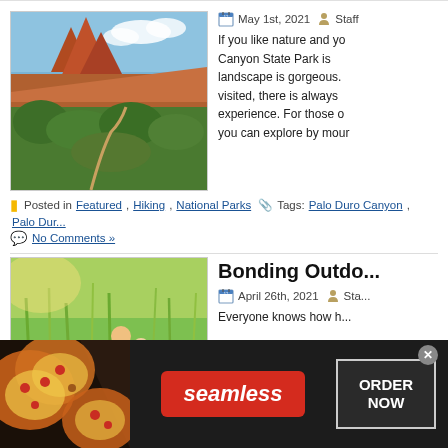[Figure (photo): Red rock formations at Palo Duro Canyon with green vegetation and blue sky]
May 1st, 2021  Staff
If you like nature and yo... Canyon State Park is... landscape is gorgeous.... visited, there is always... experience. For those o... you can explore by mour...
Posted in Featured, Hiking, National Parks  Tags: Palo Duro Canyon, Palo Dur...
No Comments »
Bonding Outdo...
[Figure (photo): Family with children in green meadow/grass field]
April 26th, 2021  Sta...
Everyone knows how h...
[Figure (screenshot): Seamless food delivery advertisement banner with pizza image and ORDER NOW button]